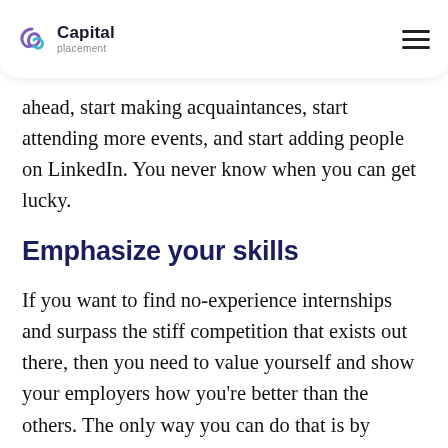Capital placement
ahead, start making acquaintances, start attending more events, and start adding people on LinkedIn. You never know when you can get lucky.
Emphasize your skills
If you want to find no-experience internships and surpass the stiff competition that exists out there, then you need to value yourself and show your employers how you're better than the others. The only way you can do that is by emphasizing your skills.